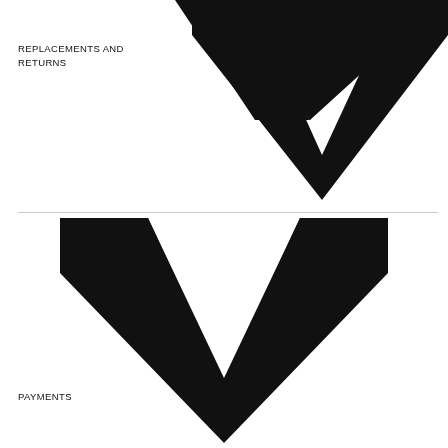REPLACEMENTS AND RETURNS
[Figure (illustration): Large black downward chevron/checkmark shape centered in upper half of page]
PAYMENTS
[Figure (illustration): Large black downward chevron/checkmark shape centered in lower half of page, wider and lower than the top one]